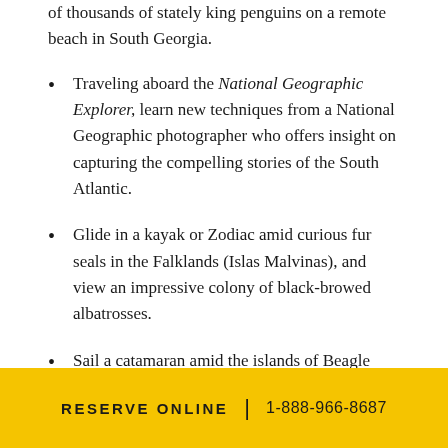of thousands of stately king penguins on a remote beach in South Georgia.
Traveling aboard the National Geographic Explorer, learn new techniques from a National Geographic photographer who offers insight on capturing the compelling stories of the South Atlantic.
Glide in a kayak or Zodiac amid curious fur seals in the Falklands (Islas Malvinas), and view an impressive colony of black-browed albatrosses.
Sail a catamaran amid the islands of Beagle Channel, spotting wildlife along the way.
RESERVE ONLINE | 1-888-966-8687